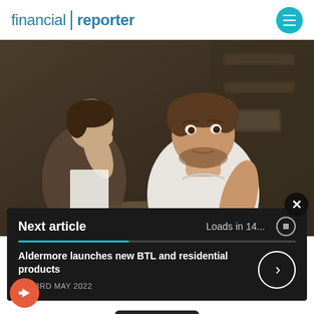financial reporter
[Figure (photo): A distressed couple sitting at a table looking at documents. A man in a white t-shirt is speaking with a worried expression, while a woman with her hand over her face appears upset. They appear to be reviewing financial paperwork.]
Next article   Loads in 14...
Aldermore launches new BTL and residential products
23RD MAY 2022